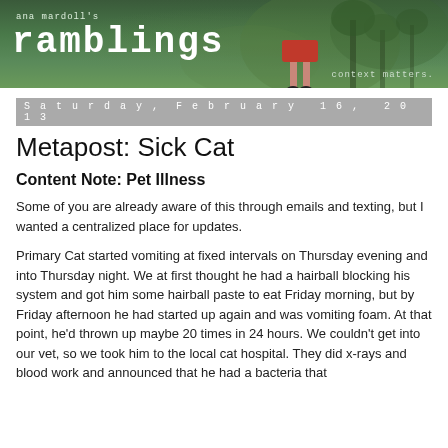[Figure (illustration): Ana Mardoll's Ramblings blog header banner with green forest background, figure of a person, and tagline 'context matters.']
Saturday, February 16, 2013
Metapost: Sick Cat
Content Note: Pet Illness
Some of you are already aware of this through emails and texting, but I wanted a centralized place for updates.
Primary Cat started vomiting at fixed intervals on Thursday evening and into Thursday night. We at first thought he had a hairball blocking his system and got him some hairball paste to eat Friday morning, but by Friday afternoon he had started up again and was vomiting foam. At that point, he'd thrown up maybe 20 times in 24 hours. We couldn't get into our vet, so we took him to the local cat hospital. They did x-rays and blood work and announced that he had a bacteria that